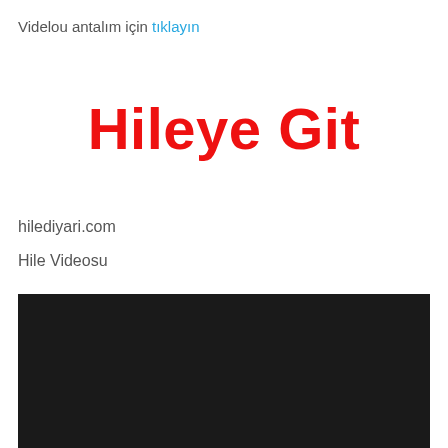Videlou antalım için tıklayın
Hileye Git
hilediyari.com
Hile Videosu
[Figure (screenshot): Dark/black video player area]